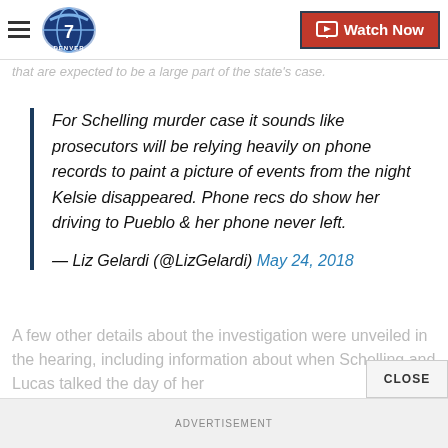Denver 7 — Watch Now
that are expected to be a large part of the state's case.
For Schelling murder case it sounds like prosecutors will be relying heavily on phone records to paint a picture of events from the night Kelsie disappeared. Phone recs do show her driving to Pueblo & her phone never left.
— Liz Gelardi (@LizGelardi) May 24, 2018
A few other details about the investigation were unveiled in the hearing, including information about when Schelling and Lucas talked the day of her
ADVERTISEMENT